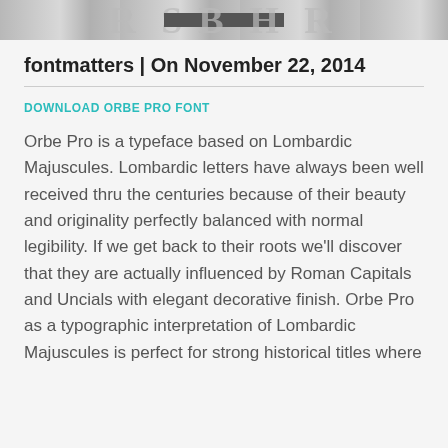[Figure (illustration): Banner image showing large decorative Lombardic letter forms in gray tones with a dark rectangular overlay in the center]
fontmatters | On November 22, 2014
DOWNLOAD ORBE PRO FONT
Orbe Pro is a typeface based on Lombardic Majuscules. Lombardic letters have always been well received thru the centuries because of their beauty and originality perfectly balanced with normal legibility. If we get back to their roots we'll discover that they are actually influenced by Roman Capitals and Uncials with elegant decorative finish. Orbe Pro as a typographic interpretation of Lombardic Majuscules is perfect for strong historical titles where